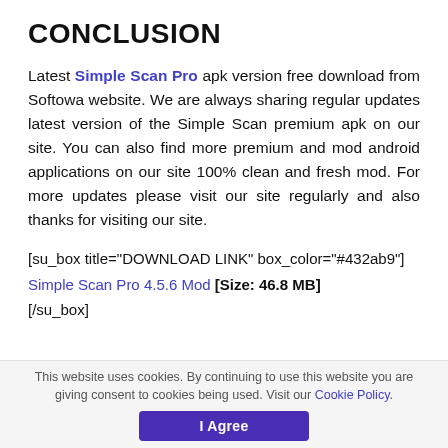CONCLUSION
Latest Simple Scan Pro apk version free download from Softowa website. We are always sharing regular updates latest version of the Simple Scan premium apk on our site. You can also find more premium and mod android applications on our site 100% clean and fresh mod. For more updates please visit our site regularly and also thanks for visiting our site.
[su_box title="DOWNLOAD LINK" box_color="#432ab9"]
Simple Scan Pro 4.5.6 Mod [Size: 46.8 MB]
[/su_box]
This website uses cookies. By continuing to use this website you are giving consent to cookies being used. Visit our Cookie Policy.